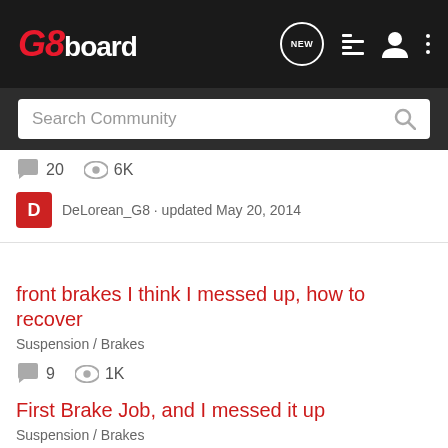G8board - navigation header with search
20 replies · 6K views · DeLorean_G8 · updated May 20, 2014
front brakes I think I messed up, how to recover
Suspension / Brakes
9 replies · 1K views · Blackbird · updated May 20, 2014
First Brake Job, and I messed it up
Suspension / Brakes
12 replies · 1K views